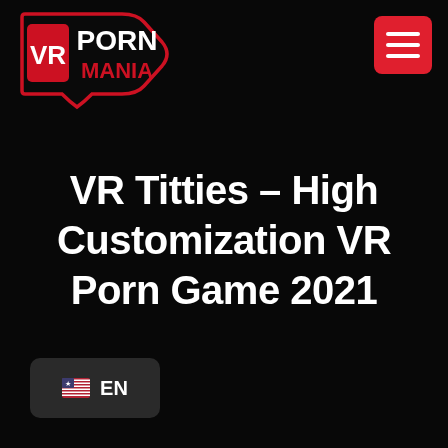[Figure (logo): VR Porn Mania logo with red shield/badge shape, white VR text and red PORN MANIA text]
[Figure (other): Red hamburger menu button with three white horizontal lines]
VR Titties – High Customization VR Porn Game 2021
[Figure (other): Language selector button showing US flag emoji and EN text on dark grey rounded rectangle]